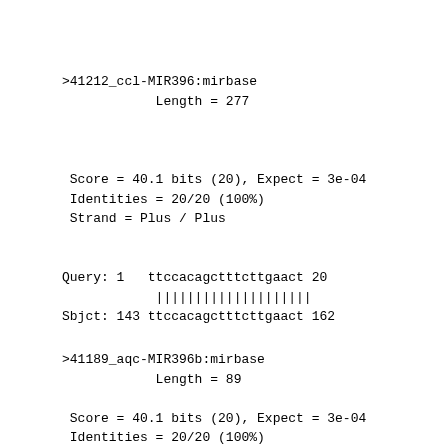>41212_ccl-MIR396:mirbase
            Length = 277
Score = 40.1 bits (20), Expect = 3e-04
 Identities = 20/20 (100%)
 Strand = Plus / Plus
Query: 1   ttccacagctttcttgaact 20
            ||||||||||||||||||||
Sbjct: 143 ttccacagctttcttgaact 162
>41189_aqc-MIR396b:mirbase
            Length = 89
Score = 40.1 bits (20), Expect = 3e-04
 Identities = 20/20 (100%)
 Strand = Plus / Plus